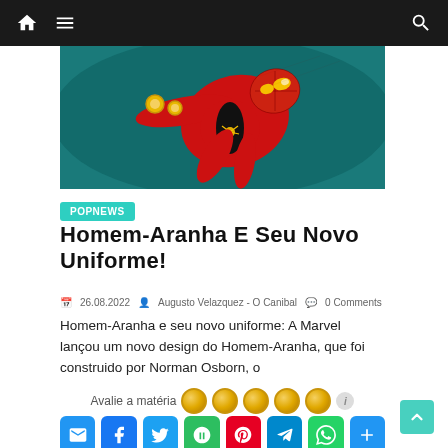Navigation bar with home, menu, and search icons
[Figure (illustration): Spider-Man in red and black costume with web pattern and glowing yellow accents, leaping/flying pose against teal background]
POPNEWS
Homem-Aranha e seu novo uniforme!
26.08.2022   Augusto Velazquez - O Canibal   0 Comments
Homem-Aranha e seu novo uniforme: A Marvel lançou um novo design do Homem-Aranha, que foi construido por Norman Osborn, o
Avalie a matéria
[Figure (infographic): Social sharing buttons: email (blue), Facebook (blue), Twitter (blue), Evernote (green), Pinterest (red), Telegram (blue), WhatsApp (green), plus (blue)]